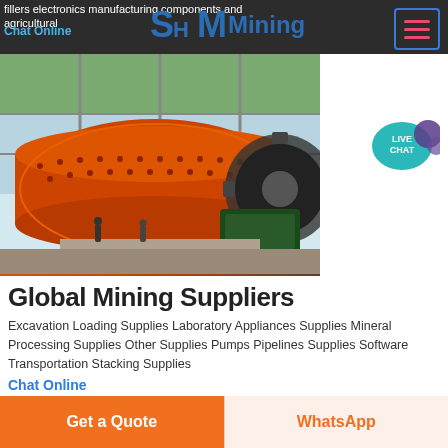fillers electronics manufacturing components and agricultural
Chat Online
[Figure (logo): SHM Mining logo in blue bold letters]
[Figure (photo): Large orange industrial ball mill machine at a mining facility under construction, with steel framework in background]
[Figure (infographic): LIVE CHAT teal speech bubble icon]
Global Mining Suppliers
Excavation Loading Supplies Laboratory Appliances Supplies Mineral Processing Supplies Other Supplies Pumps Pipelines Supplies Software Transportation Stacking Supplies
Chat Online
[Figure (photo): Partial view of a green hillside/forested area with some infrastructure, bottom portion of page]
Get a Quote
WhatsApp